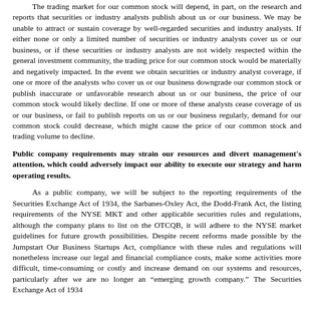The trading market for our common stock will depend, in part, on the research and reports that securities or industry analysts publish about us or our business. We may be unable to attract or sustain coverage by well-regarded securities and industry analysts. If either none or only a limited number of securities or industry analysts cover us or our business, or if these securities or industry analysts are not widely respected within the general investment community, the trading price for our common stock would be materially and negatively impacted. In the event we obtain securities or industry analyst coverage, if one or more of the analysts who cover us or our business downgrade our common stock or publish inaccurate or unfavorable research about us or our business, the price of our common stock would likely decline. If one or more of these analysts cease coverage of us or our business, or fail to publish reports on us or our business regularly, demand for our common stock could decrease, which might cause the price of our common stock and trading volume to decline.
Public company requirements may strain our resources and divert management's attention, which could adversely impact our ability to execute our strategy and harm operating results.
As a public company, we will be subject to the reporting requirements of the Securities Exchange Act of 1934, the Sarbanes-Oxley Act, the Dodd-Frank Act, the listing requirements of the NYSE MKT and other applicable securities rules and regulations, although the company plans to list on the OTCQB, it will adhere to the NYSE market guidelines for future growth possibilities. Despite recent reforms made possible by the Jumpstart Our Business Startups Act, compliance with these rules and regulations will nonetheless increase our legal and financial compliance costs, make some activities more difficult, time-consuming or costly and increase demand on our systems and resources, particularly after we are no longer an "emerging growth company." The Securities Exchange Act of 1934